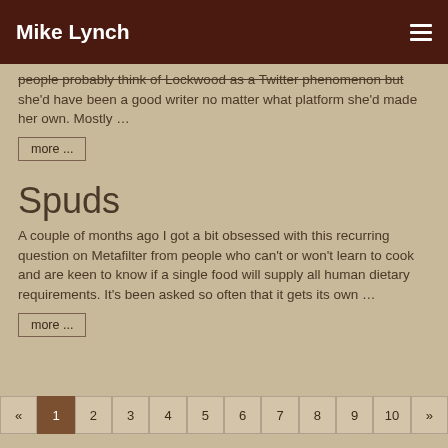Mike Lynch
people probably think of Lockwood as a Twitter phenomenon but she'd have been a good writer no matter what platform she'd made her own. Mostly …
more ...
Spuds
A couple of months ago I got a bit obsessed with this recurring question on Metafilter from people who can't or won't learn to cook and are keen to know if a single food will supply all human dietary requirements. It's been asked so often that it gets its own …
more ...
« 1 2 3 4 5 6 7 8 9 10 »